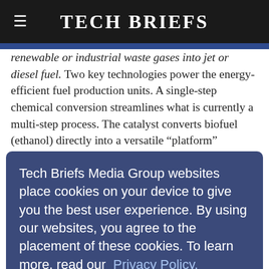Tech Briefs
renewable or industrial waste gases into jet or diesel fuel. Two key technologies power the energy-efficient fuel production units. A single-step chemical conversion streamlines what is currently a multi-step process. The catalyst converts biofuel (ethanol) directly into a versatile “platform” chemical called n-butene. A microchannel reactor design further reduces costs while delivering a scalable modular processing system.
Tech Briefs Media Group websites place cookies on your device to give you the best user experience. By using our websites, you agree to the placement of these cookies. To learn more, read our Privacy Policy.
uses, including diesel and jet fuels, and industrial lubricants.